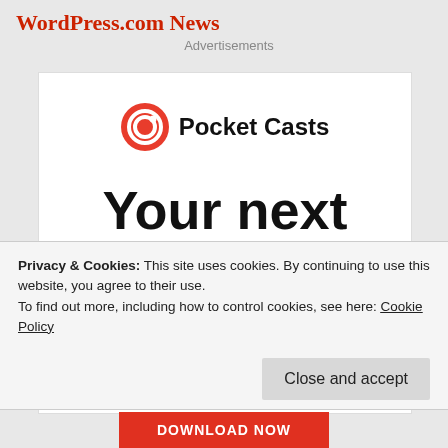WordPress.com News
Advertisements
[Figure (logo): Pocket Casts logo with red circular icon and bold text 'Pocket Casts']
Your next favorite podcast
Privacy & Cookies: This site uses cookies. By continuing to use this website, you agree to their use.
To find out more, including how to control cookies, see here: Cookie Policy
Close and accept
DOWNLOAD NOW